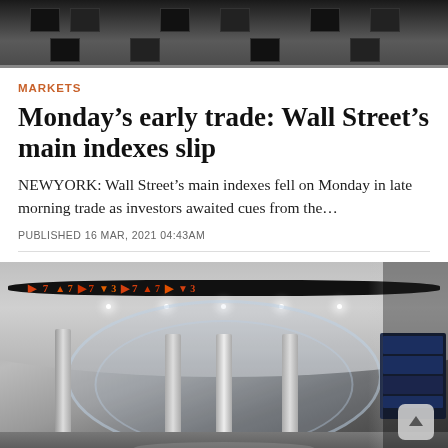[Figure (photo): Top portion of a building facade with dark windows, cropped at top of page]
MARKETS
Monday’s early trade: Wall Street’s main indexes slip
NEWYORK: Wall Street’s main indexes fell on Monday in late morning trade as investors awaited cues from the…
PUBLISHED 16 MAR, 2021 04:43AM
[Figure (photo): Interior of a stock exchange building showing a circular glass structure with LED ticker display showing orange/red numbers, ceiling lights, metal columns, and blue trading screens on the right side]